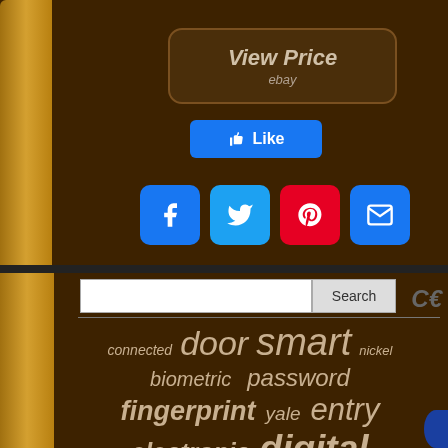[Figure (screenshot): View Price button with ebay label on dark brown background]
[Figure (screenshot): Facebook Like button in blue]
[Figure (screenshot): Social sharing icons: Facebook, Twitter, Pinterest, Email]
[Figure (screenshot): Search bar with text input and Search button]
connected door smart nickel biometric password fingerprint yale entry electronic digital